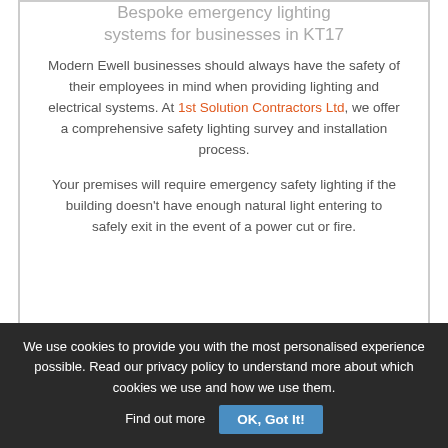Bespoke emergency lighting systems for businesses in KT17
Modern Ewell businesses should always have the safety of their employees in mind when providing lighting and electrical systems. At 1st Solution Contractors Ltd, we offer a comprehensive safety lighting survey and installation process.
Your premises will require emergency safety lighting if the building doesn't have enough natural light entering to safely exit in the event of a power cut or fire.
We use cookies to provide you with the most personalised experience possible. Read our privacy policy to understand more about which cookies we use and how we use them. Find out more | OK, Got It!